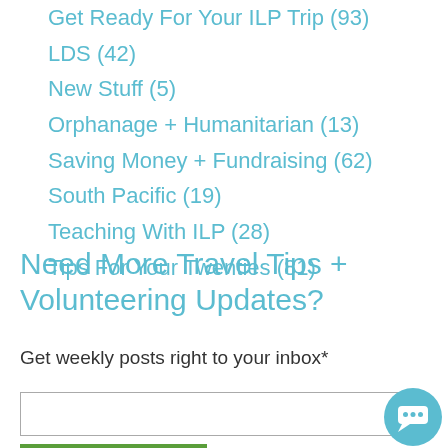Get Ready For Your ILP Trip (93)
LDS (42)
New Stuff (5)
Orphanage + Humanitarian (13)
Saving Money + Fundraising (62)
South Pacific (19)
Teaching With ILP (28)
Tips For Your Twenties (81)
Need More Travel Tips + Volunteering Updates?
Get weekly posts right to your inbox*
I want all the tips!
Popular Posts